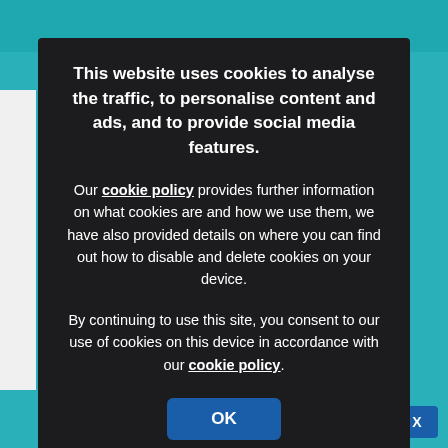[Figure (screenshot): Website cookie consent modal dialog on a teal background. Dark overlay modal contains bold title text about cookies, body text with cookie policy link, consent text with cookie policy link, and an OK button.]
This website uses cookies to analyse the traffic, to personalise content and ads, and to provide social media features.
Our cookie policy provides further information on what cookies are and how we use them, we have also provided details on where you can find out how to disable and delete cookies on your device.
By continuing to use this site, you consent to our use of cookies on this device in accordance with our cookie policy.